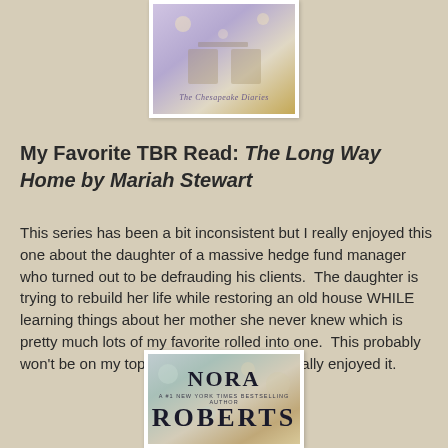[Figure (illustration): Book cover for 'The Chesapeake Diaries' series, with a dreamy purple/golden toned scene showing chairs, with italic script title overlay reading 'The Chesapeake Diaries']
My Favorite TBR Read: The Long Way Home by Mariah Stewart
This series has been a bit inconsistent but I really enjoyed this one about the daughter of a massive hedge fund manager who turned out to be defrauding his clients.  The daughter is trying to rebuild her life while restoring an old house WHILE learning things about her mother she never knew which is pretty much lots of my favorite rolled into one.  This probably won't be on my top ten for the year but I really enjoyed it.
[Figure (illustration): Book cover for a Nora Roberts novel, showing colorful abstract background with text 'NORA' and 'A #1 NEW YORK TIMES BESTSELLING AUTHOR' and 'ROBERTS' partially visible at the bottom]